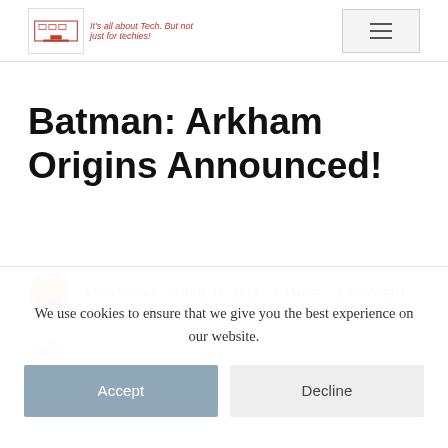It's all about Tech. But not just for techies!
Batman: Arkham Origins Announced!
ASHASHWAT / APRIL 10, 2013 / GAMING / 1 COMMENT
[Figure (photo): Broken image placeholder for article image]
We use cookies to ensure that we give you the best experience on our website.
Accept
Decline